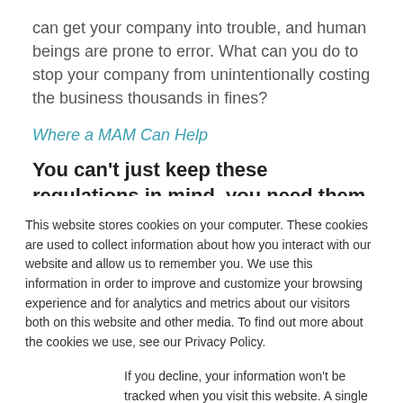can get your company into trouble, and human beings are prone to error. What can you do to stop your company from unintentionally costing the business thousands in fines?
Where a MAM Can Help
You can't just keep these regulations in mind, you need them in hand while you're planning out the
This website stores cookies on your computer. These cookies are used to collect information about how you interact with our website and allow us to remember you. We use this information in order to improve and customize your browsing experience and for analytics and metrics about our visitors both on this website and other media. To find out more about the cookies we use, see our Privacy Policy.
If you decline, your information won't be tracked when you visit this website. A single cookie will be used in your browser to remember your preference not to be tracked.